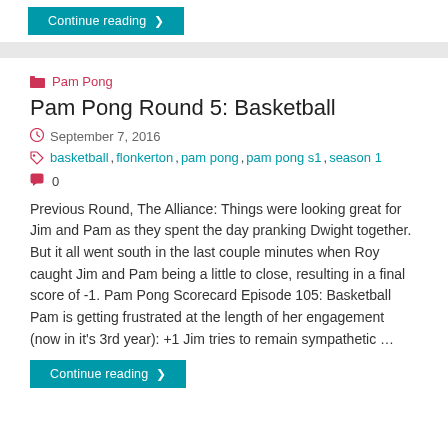Continue reading >
Pam Pong
Pam Pong Round 5: Basketball
September 7, 2016
basketball, flonkerton, pam pong, pam pong s1, season 1
0
Previous Round, The Alliance: Things were looking great for Jim and Pam as they spent the day pranking Dwight together. But it all went south in the last couple minutes when Roy caught Jim and Pam being a little to close, resulting in a final score of -1. Pam Pong Scorecard Episode 105: Basketball Pam is getting frustrated at the length of her engagement (now in it's 3rd year): +1 Jim tries to remain sympathetic …
Continue reading >